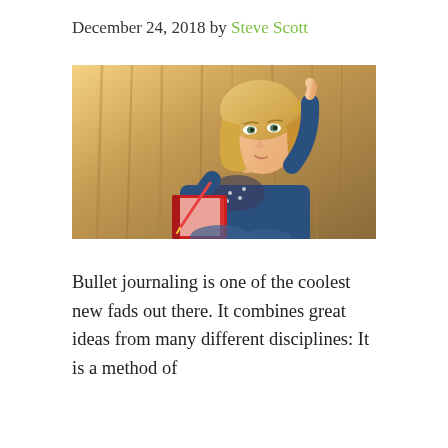December 24, 2018 by Steve Scott
[Figure (photo): Young woman with blonde hair sitting against a tree, holding a red notebook and pen, looking up thoughtfully while writing]
Bullet journaling is one of the coolest new fads out there. It combines great ideas from many different disciplines: It is a method of